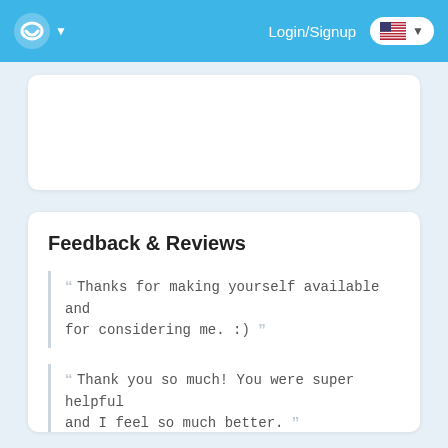Login/Signup
Feedback & Reviews
“Thanks for making yourself available and for considering me. :)”
“Thank you so much! You were super helpful and I feel so much better.”
“Definitely talking to her again”
+ Show More